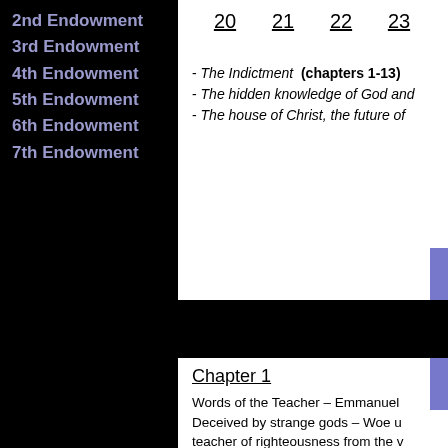2nd Endowment
3rd Endowment
4th Endowment
5th Endowment
6th Endowment
7th Endowment
20  21  22  23
- The Indictment (chapters 1-13)
- The hidden knowledge of God and
- The house of Christ, the future of
Chapter 1
Words of the Teacher – Emmanuel Deceived by strange gods – Woe u teacher of righteousness from the v shepherds – Going forth to harvest